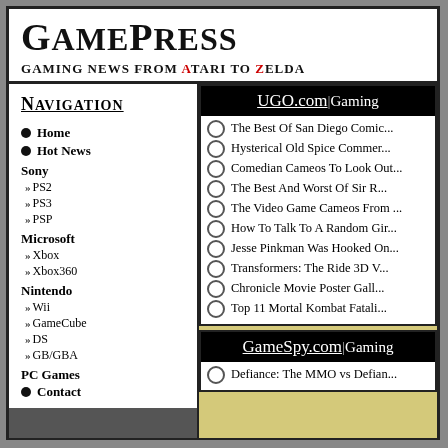GamePress
Gaming News From Atari to Zelda
Navigation
Home
Hot News
Sony
PS2
PS3
PSP
Microsoft
Xbox
Xbox360
Nintendo
Wii
GameCube
DS
GB/GBA
PC Games
Contact
UGO.com|Gaming
The Best Of San Diego Comic...
Hysterical Old Spice Commer...
Comedian Cameos To Look Out...
The Best And Worst Of Sir R...
The Video Game Cameos From ...
How To Talk To A Random Gir...
Jesse Pinkman Was Hooked On...
Transformers: The Ride 3D V...
Chronicle Movie Poster Gall...
Top 11 Mortal Kombat Fatali...
GameSpy.com|Gaming
Defiance: The MMO vs Defian...